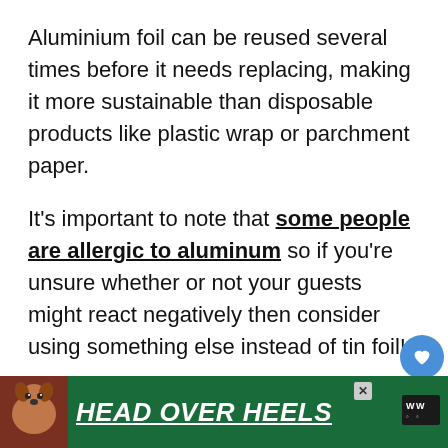Aluminium foil can be reused several times before it needs replacing, making it more sustainable than disposable products like plastic wrap or parchment paper.
It's important to note that some people are allergic to aluminum so if you're unsure whether or not your guests might react negatively then consider using something else instead of tin foil!
[Figure (screenshot): Advertisement banner with dark green background showing a dog image on the left and italic bold white underlined text 'HEAD OVER HEELS' with a TV network logo on the right]